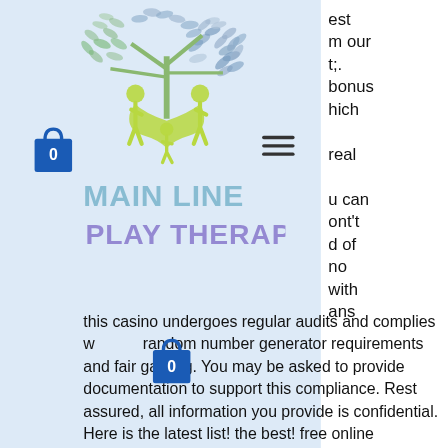[Figure (logo): Main Line Play Therapy logo: watercolor tree with green figures forming a heart shape, with blue and green leaves. Text reads MAIN LINE PLAY THERAPY in stylized watercolor lettering.]
est
m our
t;.
bonus
hich
real
u can
ont't
d of
no
with
ans
this casino undergoes regular audits and complies w random number generator requirements and fair gaming. You may be asked to provide documentation to support this compliance. Rest assured, all information you provide is confidential. Here is the latest list! the best! free online